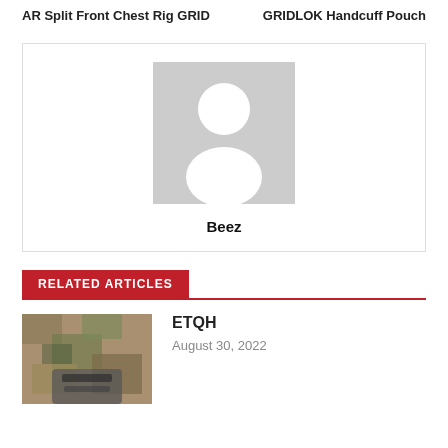AR Split Front Chest Rig GRID
GRIDLOK Handcuff Pouch
[Figure (illustration): Author avatar placeholder — grey square with white silhouette of a person]
Beez
RELATED ARTICLES
[Figure (photo): Thumbnail photo of tactical gear with multicam pattern]
ETQH
August 30, 2022